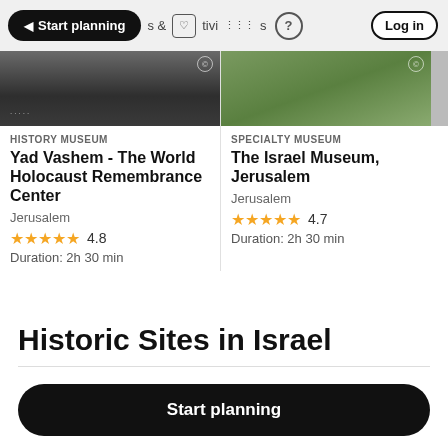Start planning | & activities | ? | Log in
[Figure (screenshot): Dark museum interior photo with copyright mark]
HISTORY MUSEUM
Yad Vashem - The World Holocaust Remembrance Center
Jerusalem
★★★★★ 4.8
Duration: 2h 30 min
[Figure (screenshot): Aerial view museum grounds photo with copyright mark]
SPECIALTY MUSEUM
The Israel Museum, Jerusalem
Jerusalem
★★★★★ 4.7
Duration: 2h 30 min
Historic Sites in Israel
Start planning